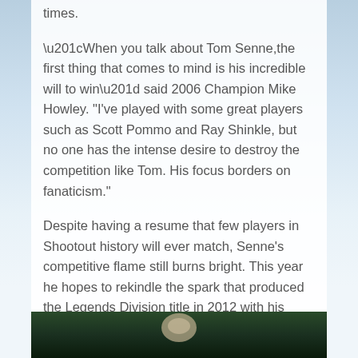times.
“When you talk about Tom Senne,the first thing that comes to mind is his incredible will to win” said 2006 Champion Mike Howley. "I've played with some great players such as Scott Pommo and Ray Shinkle, but no one has the intense desire to destroy the competition like Tom. His focus borders on fanaticism."
Despite having a resume that few players in Shootout history will ever match, Senne's competitive flame still burns bright. This year he hopes to rekindle the spark that produced the Legends Division title in 2012 with his father Bob Senne.
[Figure (photo): Bottom strip showing a dark outdoor photo, partially visible]